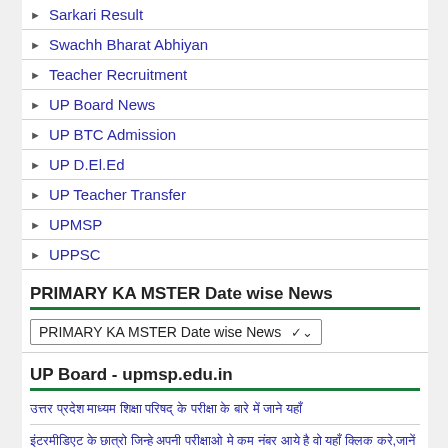Sarkari Result
Swachh Bharat Abhiyan
Teacher Recruitment
UP Board News
UP BTC Admission
UP D.El.Ed
UP Teacher Transfer
UPMSP
UPPSC
PRIMARY KA MSTER Date wise News
PRIMARY KA MSTER Date wise News ❯
UP Board - upmsp.edu.in
उत्तर प्रदेश माध्यम शिक्षा परिषद् के परीक्षा के बारे में जाने यहाँ
इंटरमीडिएट के छात्रो जिन्हे अपनी परीक्षाओ मे कम नंबर आये है वो यहाँ क्लिक करे,जानें कैसे
कोविड-19 के संक्रमण काल मे यूपी बोर्ड परीक्षा की तैयारी करने वाले छात्रो परीक्षार्थियों को राजधानी से परीक्षाओ मे जाने e-pass बनाना होगा आइए जानते कहाँ से मिलेगी जानकारी कैसे
24 घंटे पहले परीक्षार्थियों को कर दिया जाए कक्षा छोड़, इसके लाए परीक्षार्थी व छात्रो को कताई मौका